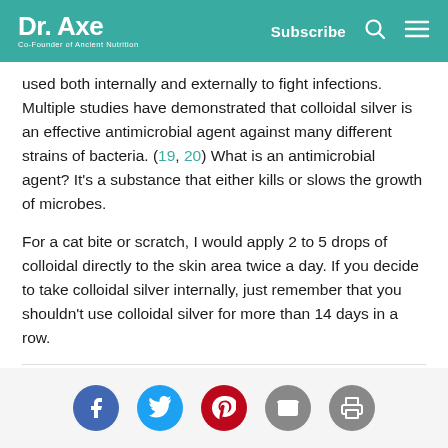Dr. Axe | Co-Founder of Ancient Nutrition | Subscribe
used both internally and externally to fight infections. Multiple studies have demonstrated that colloidal silver is an effective antimicrobial agent against many different strains of bacteria. (19, 20) What is an antimicrobial agent? It's a substance that either kills or slows the growth of microbes.
For a cat bite or scratch, I would apply 2 to 5 drops of colloidal directly to the skin area twice a day. If you decide to take colloidal silver internally, just remember that you shouldn't use colloidal silver for more than 14 days in a row.
[Figure (other): Social sharing icons: Facebook, Twitter, Pinterest, Email, Print]